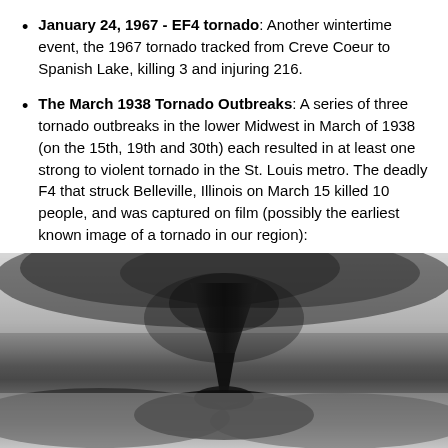January 24, 1967 - EF4 tornado: Another wintertime event, the 1967 tornado tracked from Creve Coeur to Spanish Lake, killing 3 and injuring 216.
The March 1938 Tornado Outbreaks: A series of three tornado outbreaks in the lower Midwest in March of 1938 (on the 15th, 19th and 30th) each resulted in at least one strong to violent tornado in the St. Louis metro. The deadly F4 that struck Belleville, Illinois on March 15 killed 10 people, and was captured on film (possibly the earliest known image of a tornado in our region):
[Figure (photo): Black and white historical photograph of the 1938 Belleville, Illinois tornado, showing a dark funnel cloud touching down, described as possibly the earliest known image of a tornado in the St. Louis region.]